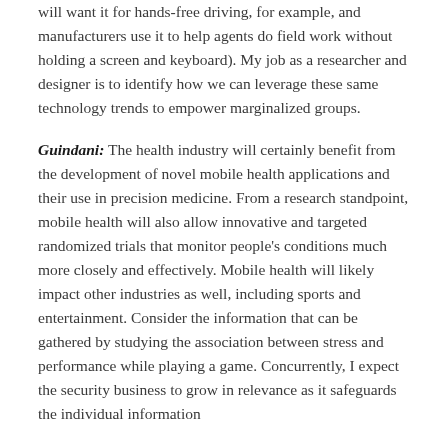will want it for hands-free driving, for example, and manufacturers use it to help agents do field work without holding a screen and keyboard). My job as a researcher and designer is to identify how we can leverage these same technology trends to empower marginalized groups.
Guindani: The health industry will certainly benefit from the development of novel mobile health applications and their use in precision medicine. From a research standpoint, mobile health will also allow innovative and targeted randomized trials that monitor people's conditions much more closely and effectively. Mobile health will likely impact other industries as well, including sports and entertainment. Consider the information that can be gathered by studying the association between stress and performance while playing a game. Concurrently, I expect the security business to grow in relevance as it safeguards the individual information